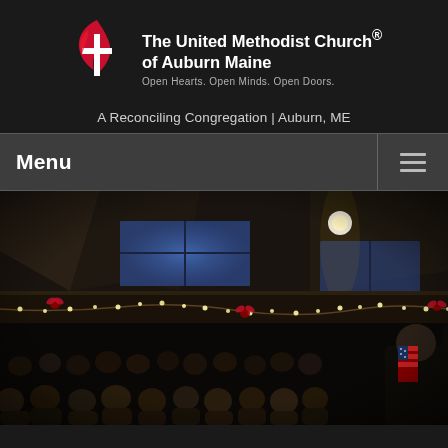[Figure (logo): United Methodist Church flame and cross logo in red and white]
The United Methodist Church® of Auburn Maine
Open Hearts. Open Minds. Open Doors.
A Reconciling Congregation | Auburn, ME
Menu
[Figure (photo): Interior of a church sanctuary during a service with congregation seated in pews, string lights and red bows along the balcony, dark ceiling with exposed beams, blue-tinted windows, and warm lighting from above. A man in dark clothing is visible at the right edge.]